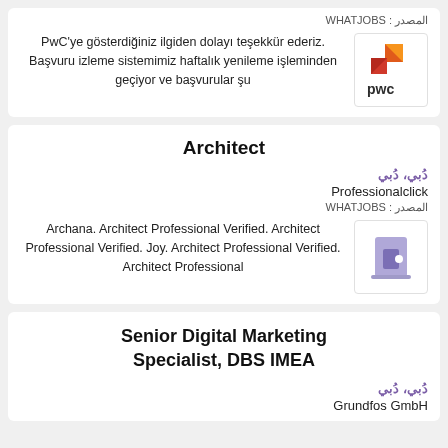المصدر : WHATJOBS
PwC'ye gösterdiğiniz ilgiden dolayı teşekkür ederiz. Başvuru izleme sistemimiz haftalık yenileme işleminden geçiyor ve başvurular şu
[Figure (logo): PwC company logo with orange and red geometric shape and 'pwc' text]
Architect
دُبي، دُبي
Professionalclick
المصدر : WHATJOBS
Archana. Architect Professional Verified. Architect Professional Verified. Joy. Architect Professional Verified. Architect Professional
[Figure (logo): Purple/blue building icon for Professionalclick]
Senior Digital Marketing Specialist, DBS IMEA
دُبي، دُبي
Grundfos GmbH